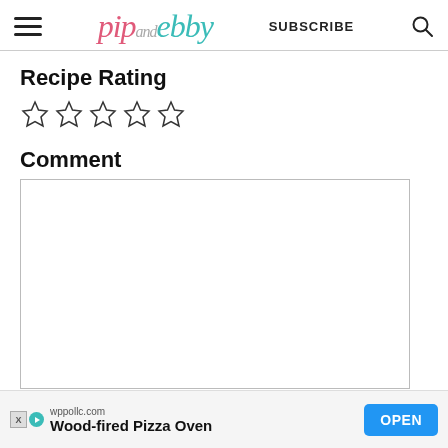pip and ebby — SUBSCRIBE
Recipe Rating
☆☆☆☆☆
Comment
[Comment text area — empty]
wppollc.com  Wood-fired Pizza Oven  OPEN